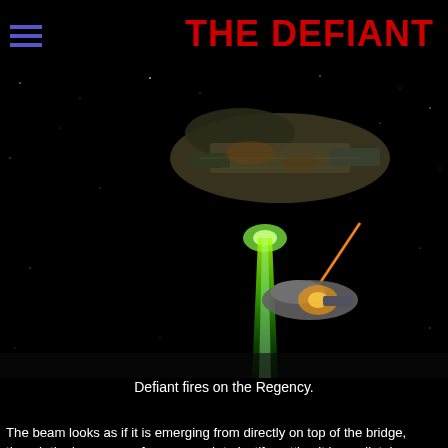THE DEFIANT
[Figure (screenshot): Space battle scene showing two spacecraft. A large ship in the upper portion fires a bright green beam downward, while a smaller ship to the lower right fires an orange/red beam. The background is dark space with stars.]
Defiant fires on the Regency.
The beam looks as if it is emerging from directly on top of the bridge, though the images are fuzzy enough to justify putting it immediately behind the bridge instead. There is no sign of a phaser array in this area, so the best bet is probably to say that this is a single phaser emitter akin to the phaser banks carried by the Refit Constitution class Enterprise and other ships of that era. We should remember that this is an alternate version of the Defiant which could have a different weapons fit, but there is really no need to assume this. The episode does state that this Defiant was built from the original plans which the rebels had stolen, and since the same